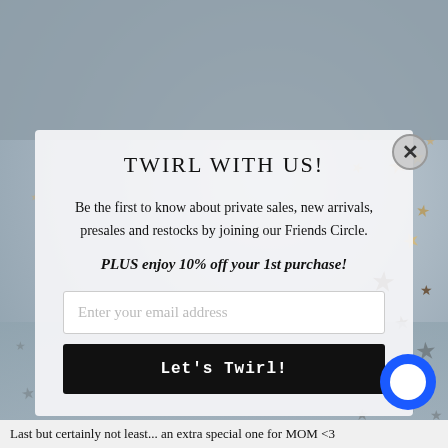[Figure (screenshot): Email signup modal popup overlay on a website with star-decorated background. Modal contains title 'TWIRL WITH US!', promotional text about joining Friends Circle, a 10% off offer, email input field, and a 'Let's Twirl!' button. Background shows gray-blue textured image with gold and dark stars scattered around. Bottom of page shows text 'Last but certainly not least... an extra special one for MOM <3']
TWIRL WITH US!
Be the first to know about private sales, new arrivals, presales and restocks by joining our Friends Circle.
PLUS enjoy 10% off your 1st purchase!
Enter your email address
Let's Twirl!
Last but certainly not least... an extra special one for MOM <3